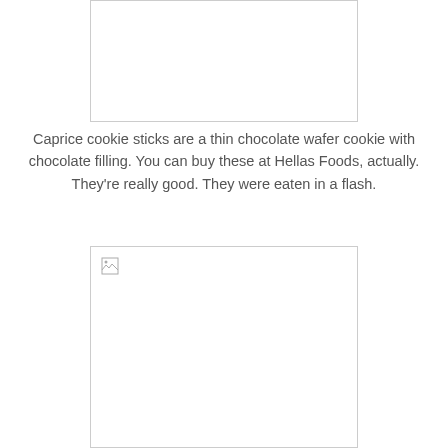[Figure (photo): Top image placeholder — image failed to load, shown as white box with border]
Caprice cookie sticks are a thin chocolate wafer cookie with chocolate filling. You can buy these at Hellas Foods, actually. They're really good. They were eaten in a flash.
[Figure (photo): Bottom image placeholder — image failed to load, shown as white box with border and broken image icon in top-left corner]